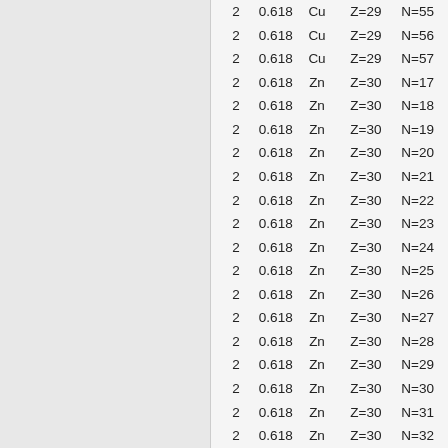|  |  |  |  |  |
| --- | --- | --- | --- | --- |
| 2 | 0.618 | Cu | Z=29 | N=55 |
| 2 | 0.618 | Cu | Z=29 | N=56 |
| 2 | 0.618 | Cu | Z=29 | N=57 |
| 2 | 0.618 | Zn | Z=30 | N=17 |
| 2 | 0.618 | Zn | Z=30 | N=18 |
| 2 | 0.618 | Zn | Z=30 | N=19 |
| 2 | 0.618 | Zn | Z=30 | N=20 |
| 2 | 0.618 | Zn | Z=30 | N=21 |
| 2 | 0.618 | Zn | Z=30 | N=22 |
| 2 | 0.618 | Zn | Z=30 | N=23 |
| 2 | 0.618 | Zn | Z=30 | N=24 |
| 2 | 0.618 | Zn | Z=30 | N=25 |
| 2 | 0.618 | Zn | Z=30 | N=26 |
| 2 | 0.618 | Zn | Z=30 | N=27 |
| 2 | 0.618 | Zn | Z=30 | N=28 |
| 2 | 0.618 | Zn | Z=30 | N=29 |
| 2 | 0.618 | Zn | Z=30 | N=30 |
| 2 | 0.618 | Zn | Z=30 | N=31 |
| 2 | 0.618 | Zn | Z=30 | N=32 |
| 2 | 0.618 | Zn | Z=30 | N=33 |
| 2 | 0.618 | Zn | Z=30 | N=34 |
| 2 | 0.618 | Zn | Z=30 | N=35 |
| 2 | 0.618 | Zn | Z=30 | N=36 |
| 2 | 0.618 | Zn | Z=30 | N=37 |
| 2 | 0.618 | Zn | Z=30 | N=38 |